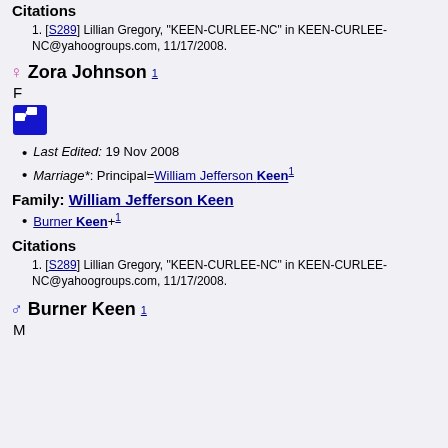Citations
[S289] Lillian Gregory, "KEEN-CURLEE-NC" in KEEN-CURLEE-NC@yahoogroups.com, 11/17/2008.
Zora Johnson1
F
Last Edited: 19 Nov 2008
Marriage*: Principal=William Jefferson Keen1
Family: William Jefferson Keen
Burner Keen+1
Citations
[S289] Lillian Gregory, "KEEN-CURLEE-NC" in KEEN-CURLEE-NC@yahoogroups.com, 11/17/2008.
Burner Keen1
M